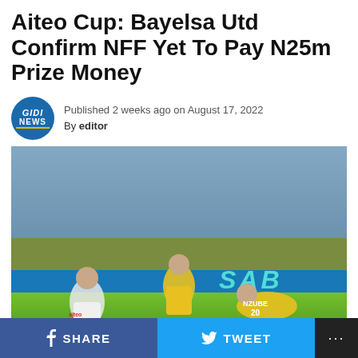Aiteo Cup: Bayelsa Utd Confirm NFF Yet To Pay N25m Prize Money
Published 2 weeks ago on August 17, 2022
By editor
[Figure (photo): Soccer match photo showing players in white and yellow/green jerseys competing for the ball on a grass field, with a stadium crowd and SAB advertisement board in the background.]
SHARE   TWEET   ...